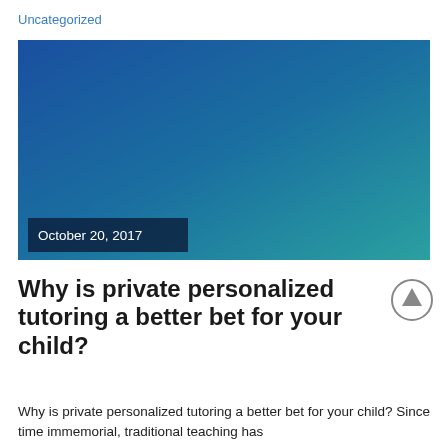Uncategorized
[Figure (illustration): Blue-teal gradient rectangle serving as hero/banner image for a blog post. In the lower-left corner is a dark navy badge with white text reading 'October 20, 2017'.]
Why is private personalized tutoring a better bet for your child?
Why is private personalized tutoring a better bet for your child? Since time immemorial, traditional teaching has